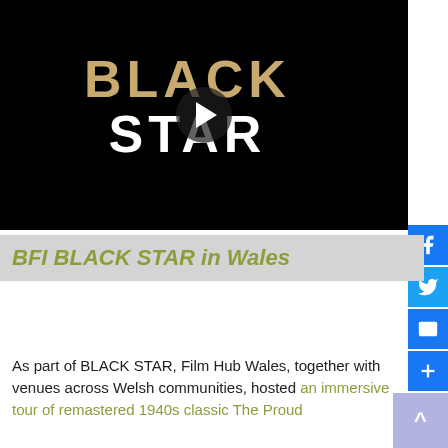[Figure (screenshot): Video thumbnail showing BLACK STAR logo in gold and white text on black background, with a circular play button overlay.]
BFI BLACK STAR in Wales
As part of BLACK STAR, Film Hub Wales, together with venues across Welsh communities, hosted an immersive tour of remastered 1940s classic The Proud